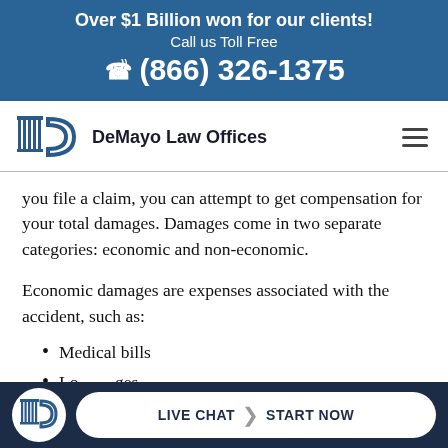Over $1 Billion won for our clients! Call us Toll Free (866) 326-1375
[Figure (logo): DeMayo Law Offices logo with columns and D-shape icon]
you file a claim, you can attempt to get compensation for your total damages. Damages come in two separate categories: economic and non-economic.
Economic damages are expenses associated with the accident, such as:
Medical bills
Lost wages